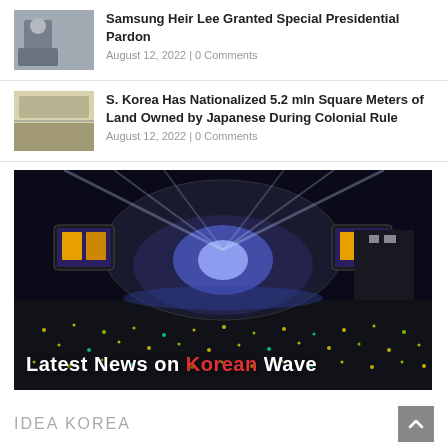[Figure (photo): Person wearing mask being interviewed, Samsung heir news thumbnail]
Samsung Heir Lee Granted Special Presidential Pardon
August 12, 2022 | 0 Comments
[Figure (photo): Aerial view of agricultural land, Korea nationalized land news thumbnail]
S. Korea Has Nationalized 5.2 mln Square Meters of Land Owned by Japanese During Colonial Rule
August 12, 2022 | 0 Comments
[Figure (photo): Night concert with large crowd and stage lights, Latest News on Korean Wave banner]
IDEA KOREA